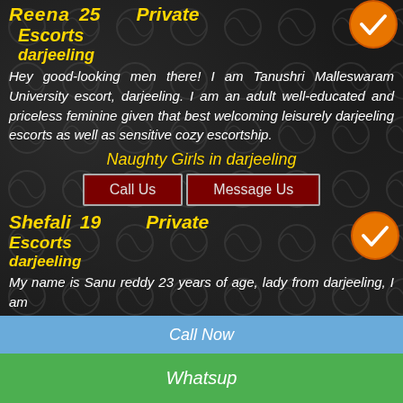Escorts darjeeling
Hey good-looking men there! I am Tanushri Malleswaram University escort, darjeeling. I am an adult well-educated and priceless feminine given that best welcoming leisurely darjeeling escorts as well as sensitive cozy escortship.
Naughty Girls in darjeeling
Call Us   Message Us
Shefali  19  Private Escorts darjeeling
My name is Sanu reddy 23 years of age, lady from darjeeling, I am
Call Now
Whatsup